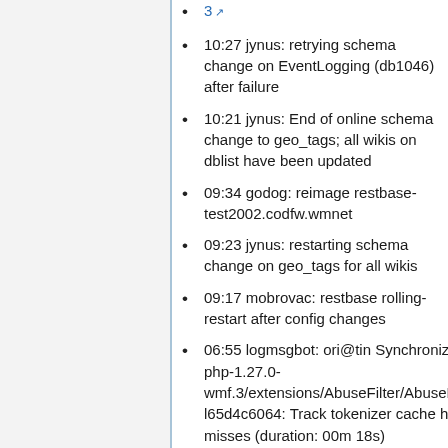3 [external link]
10:27 jynus: retrying schema change on EventLogging (db1046) after failure
10:21 jynus: End of online schema change to geo_tags; all wikis on dblist have been updated
09:34 godog: reimage restbase-test2002.codfw.wmnet
09:23 jynus: restarting schema change on geo_tags for all wikis
09:17 mobrovac: restbase rolling-restart after config changes
06:55 logmsgbot: ori@tin Synchronized php-1.27.0-wmf.3/extensions/AbuseFilter/AbuseFilter l65d4c6064: Track tokenizer cache hits / misses (duration: 00m 18s)
06:55 logmsgbot: ori@tin Synchronized php-1.27.0-